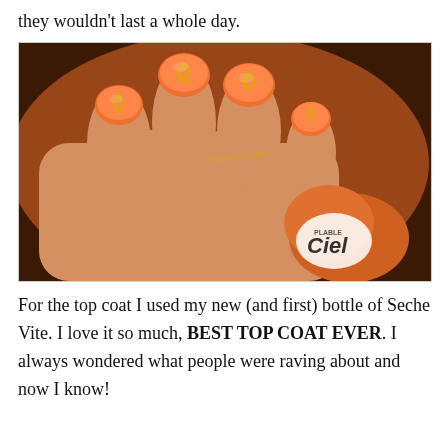they wouldn't last a whole day.
[Figure (photo): Close-up photo of a hand with orange/coral painted nails decorated with gold glitter/rhinestone chandelier nail art designs, holding an orange nail polish bottle (Ciel brand). A watermark reads 'nazanin.com'.]
For the top coat I used my new (and first) bottle of Seche Vite. I love it so much, BEST TOP COAT EVER. I always wondered what people were raving about and now I know!